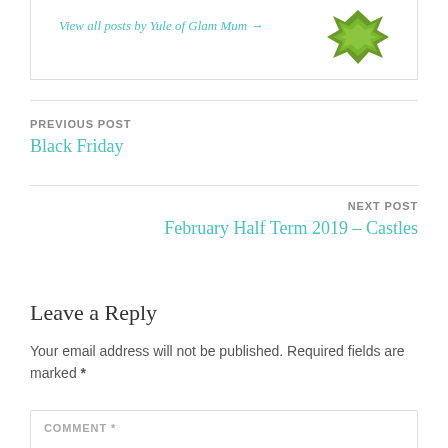View all posts by Yule of Glam Mum
[Figure (illustration): Green geometric/angular leaf or flower icon in dark olive/green color]
PREVIOUS POST
Black Friday
NEXT POST
February Half Term 2019 – Castles
Leave a Reply
Your email address will not be published. Required fields are marked *
COMMENT *